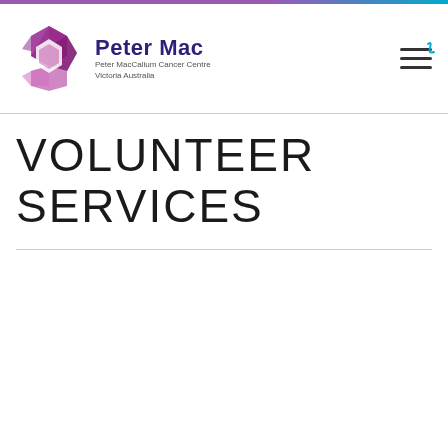[Figure (logo): Peter Mac (Peter MacCallum Cancer Centre) logo with hexagonal purple/pink geometric icon and text 'Peter Mac', 'Peter MacCallum Cancer Centre', 'Victoria Australia']
VOLUNTEER SERVICES